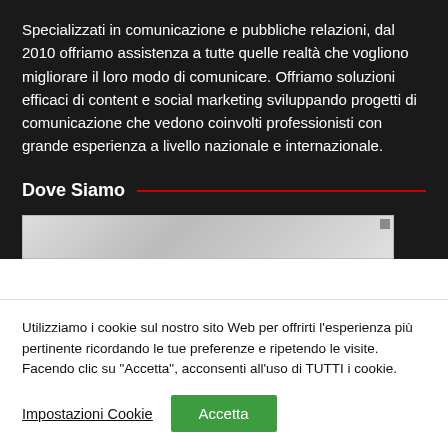Specializzati in comunicazione e pubbliche relazioni, dal 2010 offriamo assistenza a tutte quelle realtà che vogliono migliorare il loro modo di comunicare. Offriamo soluzioni efficaci di content e social marketing sviluppando progetti di comunicazione che vedono coinvolti professionisti con grande esperienza a livello nazionale e internazionale.
Dove Siamo
[Figure (map): Partial map screenshot showing a street map, partially visible at the bottom of the dark section]
Utilizziamo i cookie sul nostro sito Web per offrirti l'esperienza più pertinente ricordando le tue preferenze e ripetendo le visite. Facendo clic su "Accetta", acconsenti all'uso di TUTTI i cookie.
Impostazioni Cookie
Accetta